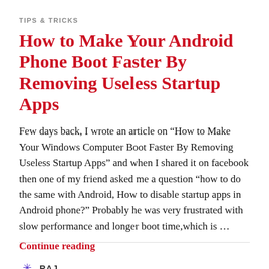TIPS & TRICKS
How to Make Your Android Phone Boot Faster By Removing Useless Startup Apps
Few days back, I wrote an article on “How to Make Your Windows Computer Boot Faster By Removing Useless Startup Apps” and when I shared it on facebook then one of my friend asked me a question “how to do the same with Android, How to disable startup apps in Android phone?” Probably he was very frustrated with slow performance and longer boot time,which is …
Continue reading
RAJ